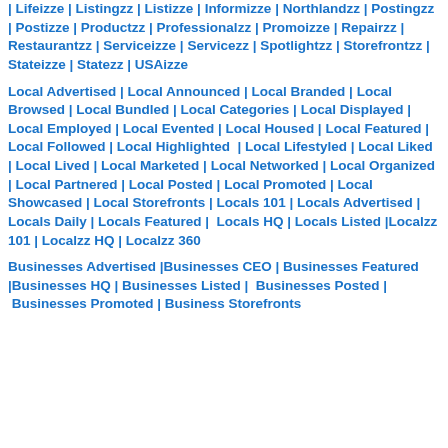| Lifeizze | Listingzz | Listizze | Informizze | Northlandzz | Postingzz | Postizze | Productzz | Professionalzz | Promoizze | Repairzz | Restaurantzz | Serviceizze | Servicezz | Spotlightzz | Storefrontzz | Stateizze | Statezz | USAizze
Local Advertised | Local Announced | Local Branded | Local Browsed | Local Bundled | Local Categories | Local Displayed | Local Employed | Local Evented | Local Housed | Local Featured | Local Followed | Local Highlighted | Local Lifestyled | Local Liked | Local Lived | Local Marketed | Local Networked | Local Organized | Local Partnered | Local Posted | Local Promoted | Local Showcased | Local Storefronts | Locals 101 | Locals Advertised | Locals Daily | Locals Featured | Locals HQ | Locals Listed |Localzz 101 | Localzz HQ | Localzz 360
Businesses Advertised |Businesses CEO | Businesses Featured |Businesses HQ | Businesses Listed | Businesses Posted | Businesses Promoted | Business Storefronts